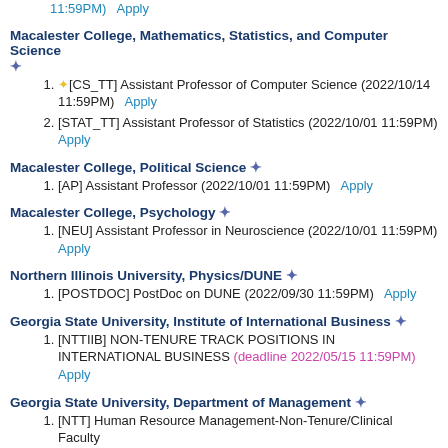11:59PM)   Apply
Macalester College, Mathematics, Statistics, and Computer Science ✦
1. ☆[CS_TT] Assistant Professor of Computer Science (2022/10/14 11:59PM)   Apply
2. [STAT_TT] Assistant Professor of Statistics (2022/10/01 11:59PM)   Apply
Macalester College, Political Science ✦
1. [AP] Assistant Professor (2022/10/01 11:59PM)   Apply
Macalester College, Psychology ✦
1. [NEU] Assistant Professor in Neuroscience (2022/10/01 11:59PM)   Apply
Northern Illinois University, Physics/DUNE ✦
1. [POSTDOC] PostDoc on DUNE (2022/09/30 11:59PM)   Apply
Georgia State University, Institute of International Business ✦
1. [NTTIIB] NON-TENURE TRACK POSITIONS IN INTERNATIONAL BUSINESS (deadline 2022/05/15 11:59PM)   Apply
Georgia State University, Department of Management ✦
1. [NTT] Human Resource Management-Non-Tenure/Clinical Faculty